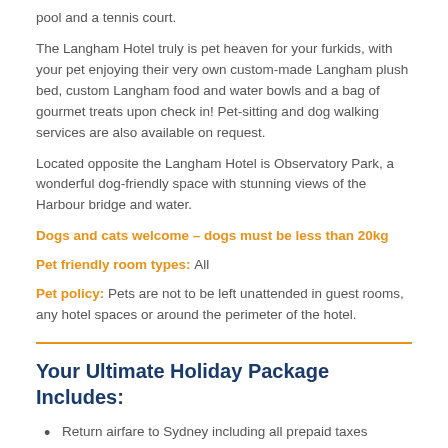pool and a tennis court.
The Langham Hotel truly is pet heaven for your furkids, with your pet enjoying their very own custom-made Langham plush bed, custom Langham food and water bowls and a bag of gourmet treats upon check in! Pet-sitting and dog walking services are also available on request.
Located opposite the Langham Hotel is Observatory Park, a wonderful dog-friendly space with stunning views of the Harbour bridge and water.
Dogs and cats welcome – dogs must be less than 20kg
Pet friendly room types: All
Pet policy: Pets are not to be left unattended in guest rooms, any hotel spaces or around the perimeter of the hotel.
Your Ultimate Holiday Package Includes:
Return airfare to Sydney including all prepaid taxes
Airline approved pet travel crate
Accommodation at the Langham Sydney